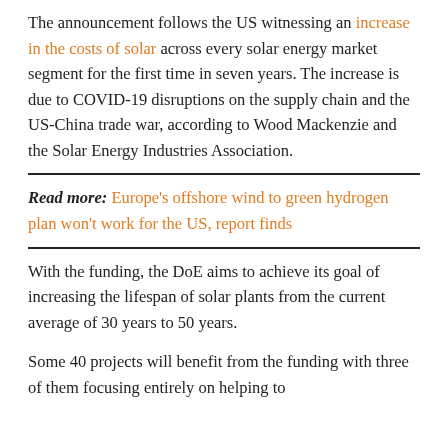The announcement follows the US witnessing an increase in the costs of solar across every solar energy market segment for the first time in seven years. The increase is due to COVID-19 disruptions on the supply chain and the US-China trade war, according to Wood Mackenzie and the Solar Energy Industries Association.
Read more: Europe's offshore wind to green hydrogen plan won't work for the US, report finds
With the funding, the DoE aims to achieve its goal of increasing the lifespan of solar plants from the current average of 30 years to 50 years.
Some 40 projects will benefit from the funding with three of them focusing entirely on helping to